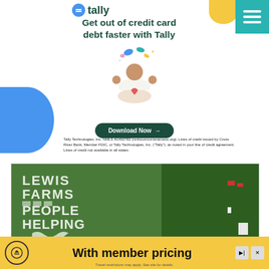[Figure (infographic): Tally app advertisement banner. Top right has teal hamburger menu icon. Small yellow rounded shape top right. Blue semicircle shape on left. Center shows illustrated person meditating with credit cards floating above. Headline reads 'Get out of credit card debt faster with Tally'. Green 'Download Now' button with arrow. Fine print disclaimer text at bottom of banner.]
Get out of credit card debt faster with Tally
Tally Technologies, Inc. NMLS #1492782 (nmlsconsumeraccess.org). Lines of credit issued by Cross River Bank, Member FDIC, or Tally Technologies, Inc. ("Tally"), as noted in your line of credit agreement. Lines of credit not available in all states.
[Figure (photo): Aerial photo of Lewis Farms corn maze. The maze is cut into a green field and spells out 'LEWIS FARMS PEOPLE HELPING' with hands forming a heart shape. Trees visible on the right side, small red and white structures visible at far right.]
[Figure (infographic): Yellow banner advertisement at bottom: 'With member pricing' with a circular travel icon on the left and forward/close control buttons on the right. Fine print: 'Travel restrictions may apply. See site for details.']